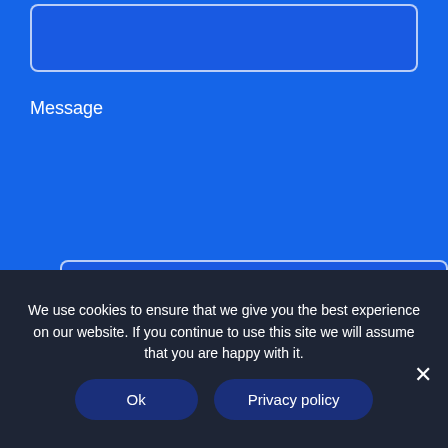[Figure (screenshot): Top input field (partially visible text input box with rounded border on blue background)]
Message
[Figure (screenshot): Textarea input field with rounded border on blue background]
The administrator of personal data is 4Semantics Sp. z o.o. with headquarters at ul. Warszawska 6/32 in 15-063 Białystok. The data entered in the contact form will be processed in order to answer the submitted question in accordance with the privacy policy.
We use cookies to ensure that we give you the best experience on our website. If you continue to use this site we will assume that you are happy with it.
Ok
Privacy policy